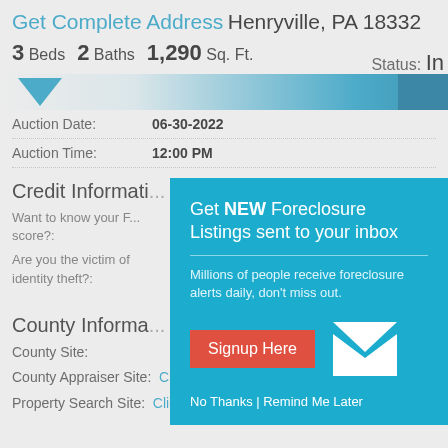Get Complete Address Henryville, PA 18332
3 Beds  2 Baths  1,290 Sq. Ft.   Status: In
[Figure (screenshot): Blue navigation bar with triangle icon and blue button on right]
| Field | Value |
| --- | --- |
| Auction Date: | 06-30-2022 |
| Auction Time: | 12:00 PM |
Credit Informati...
Want to know your F... score?:
Are you the victim of identity theft?:
[Figure (infographic): Popup modal: Get NEW Foreclosure Listings sent to your inbox. Millions of people receive foreclosure alerts daily, don't miss out. Signup Here button. No Thanks | Remind Me Later links. Envelope icon graphic.]
County Informa...
County Site:
County Appraiser Site:    Click Here
Property Search Site:    Click Here